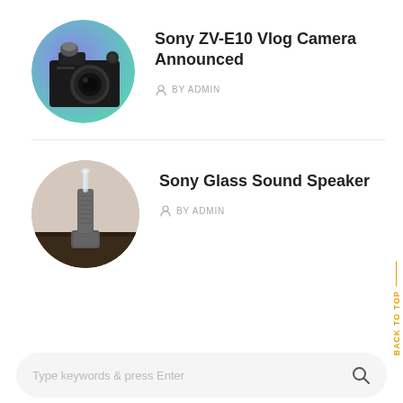[Figure (photo): Circular thumbnail of Sony ZV-E10 camera with gradient purple/teal background]
Sony ZV-E10 Vlog Camera Announced
BY ADMIN
[Figure (photo): Circular thumbnail of Sony Glass Sound Speaker on dark wooden surface with beige background]
Sony Glass Sound Speaker
BY ADMIN
BACK TO TOP
Type keywords & press Enter